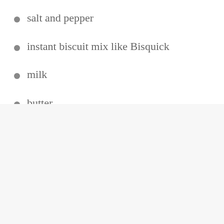salt and pepper
instant biscuit mix like Bisquick
milk
butter